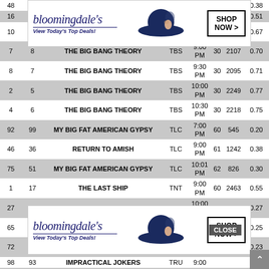[Figure (other): Bloomingdales advertisement banner at top: logo, hat image, 'Shop Now >' button, tagline 'View Today's Top Deals!']
|  |  | PROGRAM | NETWORK | TIME | LEN | AA(000) | AA% |
| --- | --- | --- | --- | --- | --- | --- | --- |
| 48 | 36 |  |  |  |  |  | 0.38 |
| 16 | 20 |  |  | PM |  |  | 0.51 |
| 10 | 10 | THE BIG BANG THEORY | TBS | 8:30 PM | 30 | 2074 | 0.67 |
| 7 | 8 | THE BIG BANG THEORY | TBS | 9:00 PM | 30 | 2107 | 0.70 |
| 8 | 7 | THE BIG BANG THEORY | TBS | 9:30 PM | 30 | 2095 | 0.71 |
| 2 | 5 | THE BIG BANG THEORY | TBS | 10:00 PM | 30 | 2249 | 0.77 |
| 4 | 6 | THE BIG BANG THEORY | TBS | 10:30 PM | 30 | 2218 | 0.75 |
| 92 | 99 | MY BIG FAT AMERICAN GYPSY | TLC | 7:00 PM | 60 | 545 | 0.20 |
| 46 | 36 | RETURN TO AMISH | TLC | 9:00 PM | 61 | 1242 | 0.38 |
| 75 | 51 | MY BIG FAT AMERICAN GYPSY | TLC | 10:01 PM | 62 | 826 | 0.30 |
| 1 | 17 | THE LAST SHIP | TNT | 9:00 PM | 60 | 2463 | 0.55 |
| 27 | 68 | MURDER IN THE FIRST | TNT | 10:00 PM | 60 | 1467 | 0.27 |
| 65 | 74 | AMAZING WORLD OF GUMBALL | TOON | 7:00 PM | 30 | 982 | 0.25 |
| 72 | 83 | AMAZING WORLD OF GUMBALL | TOON | 7:30 PM | 30 | 869 | 0.23 |
| 98 | 93 | IMPRACTICAL JOKERS | TRU | 9:00 |  |  | 0.21 |
| 95 | 74 |  |  |  |  |  | 0.25 |
| 97 | 88 |  |  |  |  |  | 0.22 |
[Figure (other): Bloomingdales advertisement banner at bottom: logo, hat image, 'Shop Now >' button, tagline 'View Today's Top Deals!']